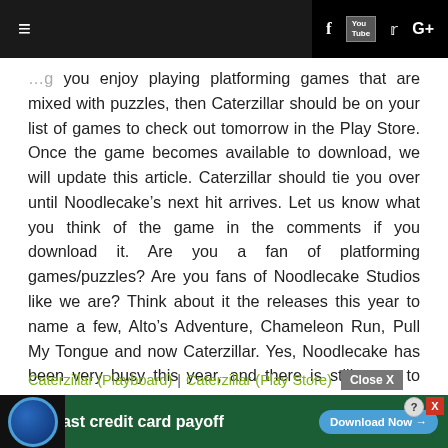≡  f [YouTube] ✦ G+
you enjoy playing platforming games that are mixed with puzzles, then Caterzillar should be on your list of games to check out tomorrow in the Play Store. Once the game becomes available to download, we will update this article. Caterzillar should tie you over until Noodlecake's next hit arrives. Let us know what you think of the game in the comments if you download it. Are you a fan of platforming games/puzzles? Are you fans of Noodlecake Studios like we are? Think about it the releases this year to name a few, Alto's Adventure, Chameleon Run, Pull My Tongue and now Caterzillar. Yes, Noodlecake has been very busy this year, and there is still more to come.
Caterzillar (Playboard) | Caterzillar (Play Store)
[Figure (screenshot): Advertisement banner for Tally app: 'Fast credit card payoff' with Download Now button on green background]